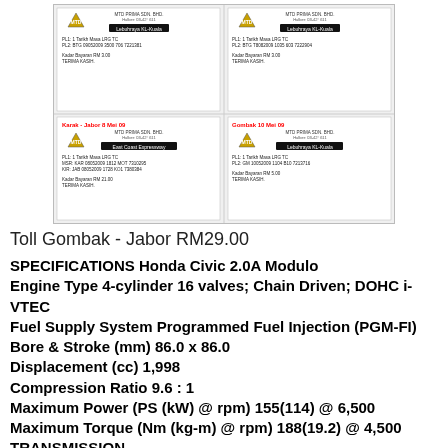[Figure (photo): Four Malaysian toll receipts from MTD Prima Sdn Bhd showing trips on Lebuhraya KL-Kuala and East Coast Expressway, dated May 2009, with two receipts showing red text headers 'Karak - Jabor 8 Mei 09' and 'Gombak 10 Mei 09'. Receipts show fare amounts RM 3.00, RM 21.00, RM 5.00.]
Toll Gombak - Jabor RM29.00
SPECIFICATIONS Honda Civic 2.0A Modulo Engine Type 4-cylinder 16 valves; Chain Driven; DOHC i-VTEC Fuel Supply System Programmed Fuel Injection (PGM-FI) Bore & Stroke (mm) 86.0 x 86.0 Displacement (cc) 1,998 Compression Ratio 9.6 : 1 Maximum Power (PS (kW) @ rpm) 155(114) @ 6,500 Maximum Torque (Nm (kg-m) @ rpm) 188(19.2) @ 4,500 TRANSMISSION